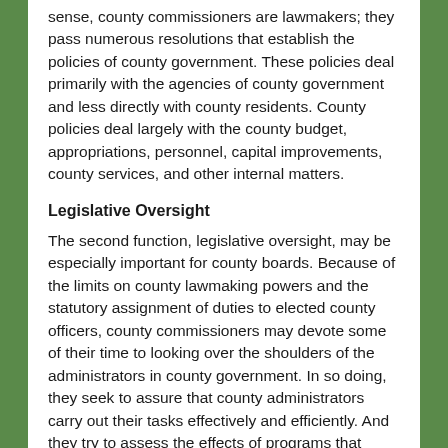sense, county commissioners are lawmakers; they pass numerous resolutions that establish the policies of county government. These policies deal primarily with the agencies of county government and less directly with county residents. County policies deal largely with the county budget, appropriations, personnel, capital improvements, county services, and other internal matters.
Legislative Oversight
The second function, legislative oversight, may be especially important for county boards. Because of the limits on county lawmaking powers and the statutory assignment of duties to elected county officers, county commissioners may devote some of their time to looking over the shoulders of the administrators in county government. In so doing, they seek to assure that county administrators carry out their tasks effectively and efficiently. And they try to assess the effects of programs that county funds are being used for.
Constituent Services
A third major legislative function is providing constituent service; that is, checking on problems residents may have with a county agency, helping them obtain the services of a county agency, or just providing information one of them is seeking. As a result, they frequently must publicly